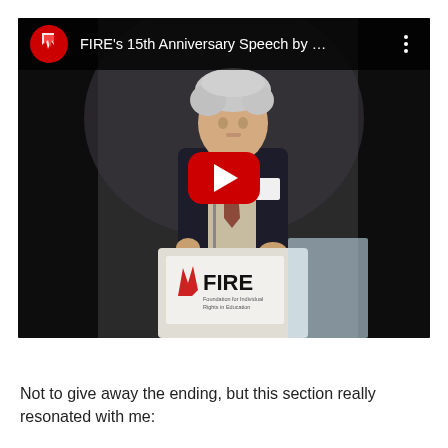[Figure (screenshot): YouTube video thumbnail showing a man with curly white hair speaking at a podium with a FIRE (Foundation for Individual Rights in Education) sign. The video title reads 'FIRE's 15th Anniversary Speech by ...' with a red play button overlay.]
Not to give away the ending, but this section really resonated with me: